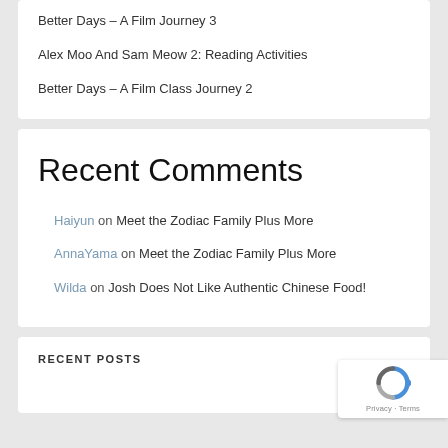Better Days – A Film Journey 3
Alex Moo And Sam Meow 2: Reading Activities
Better Days – A Film Class Journey 2
Recent Comments
Haiyun on Meet the Zodiac Family Plus More
AnnaYama on Meet the Zodiac Family Plus More
Wilda on Josh Does Not Like Authentic Chinese Food!
RECENT POSTS
[Figure (logo): reCAPTCHA badge with Privacy and Terms text]